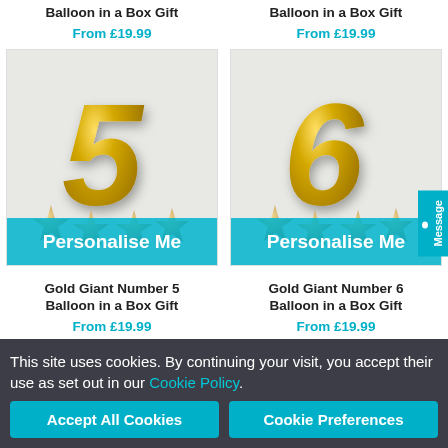Balloon in a Box Gift
From £19.99
Balloon in a Box Gift
From £19.99
[Figure (photo): Gold giant number 5 balloon with gold star balloons at base, on light background, with teal Personalise Me banner at bottom]
[Figure (photo): Gold giant number 6 balloon with gold star balloons at base, on light background, with teal Personalise Me banner at bottom]
Gold Giant Number 5 Balloon in a Box Gift
From £19.99
Gold Giant Number 6 Balloon in a Box Gift
From £19.99
This site uses cookies. By continuing your visit, you accept their use as set out in our Cookie Policy.
Accept All Cookies
Cookie Preferences